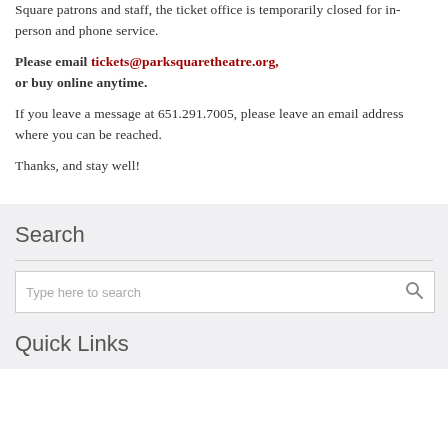Square patrons and staff, the ticket office is temporarily closed for in-person and phone service.
Please email tickets@parksquaretheatre.org, or buy online anytime.
If you leave a message at 651.291.7005, please leave an email address where you can be reached.
Thanks, and stay well!
Search
Type here to search
Quick Links